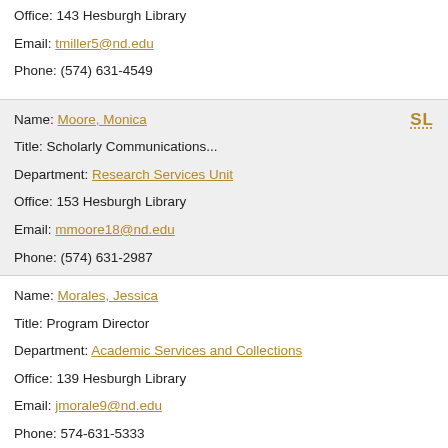Office: 143 Hesburgh Library
Email: tmiller5@nd.edu
Phone: (574) 631-4549
Name: Moore, Monica
Title: Scholarly Communications...
Department: Research Services Unit
Office: 153 Hesburgh Library
Email: mmoore18@nd.edu
Phone: (574) 631-2987
Name: Morales, Jessica
Title: Program Director
Department: Academic Services and Collections
Office: 139 Hesburgh Library
Email: jmorale9@nd.edu
Phone: 574-631-5333
Name: Morgan, Eric Lease